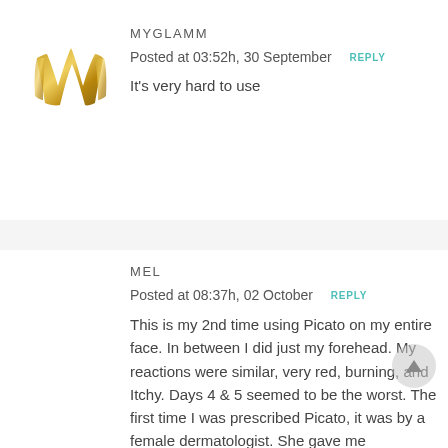[Figure (logo): MyGlamm gold stylized M logo]
MYGLAMM
Posted at 03:52h, 30 September  REPLY
It's very hard to use
MEL
Posted at 08:37h, 02 October  REPLY
This is my 2nd time using Picato on my entire face. In between I did just my forehead. My reactions were similar, very red, burning, and Itchy. Days 4 & 5 seemed to be the worst. The first time I was prescribed Picato, it was by a female dermatologist. She gave me